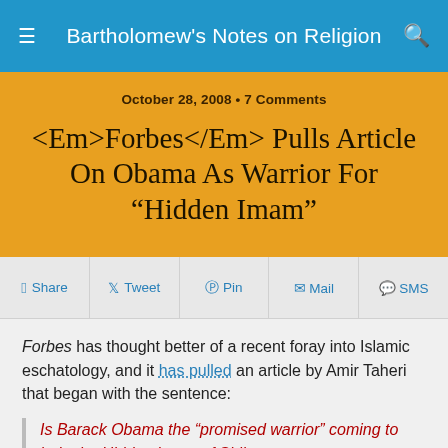Bartholomew's Notes on Religion
October 28, 2008 • 7 Comments
<Em>Forbes</Em> Pulls Article On Obama As Warrior For “Hidden Imam”
Share  Tweet  Pin  Mail  SMS
Forbes has thought better of a recent foray into Islamic eschatology, and it has pulled an article by Amir Taheri that began with the sentence:
Is Barack Obama the “promised warrior” coming to help the Hidden Imam of Shiite